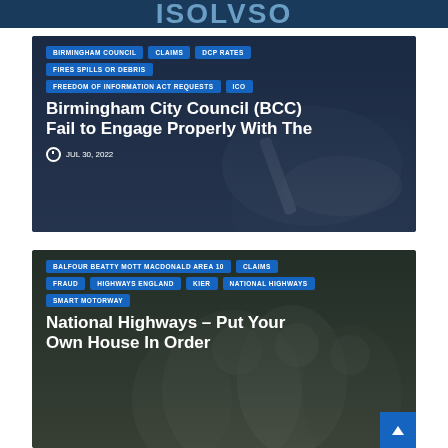[Figure (screenshot): Dark blue banner at top of webpage with partial logo/text visible]
[Figure (screenshot): Article card: Birmingham City Council (BCC) Fail to Engage Properly With The — with tags BIRMINGHAM COUNCIL, CLAIMS, DCP RATES, FIRES SPILLS OR DEBRIS, FREEDOM OF INFORMATION ACT REQUESTS, ICO. Date: JUL 30, 2022]
BIRMINGHAM COUNCIL
CLAIMS
DCP RATES
FIRES SPILLS OR DEBRIS
FREEDOM OF INFORMATION ACT REQUESTS
ICO
Birmingham City Council (BCC) Fail to Engage Properly With The
JUL 30, 2022
[Figure (screenshot): Article card: National Highways – Put Your Own House In Order — with tags BALFOUR BEATTY MOTT MACDONALD AREA 10, CLAIMS, FRAUD, HIGHWAYS ENGLAND, KIER, NATIONAL HIGHWAYS, SMART MOTORWAY]
BALFOUR BEATTY MOTT MACDONALD AREA 10
CLAIMS
FRAUD
HIGHWAYS ENGLAND
KIER
NATIONAL HIGHWAYS
SMART MOTORWAY
National Highways – Put Your Own House In Order